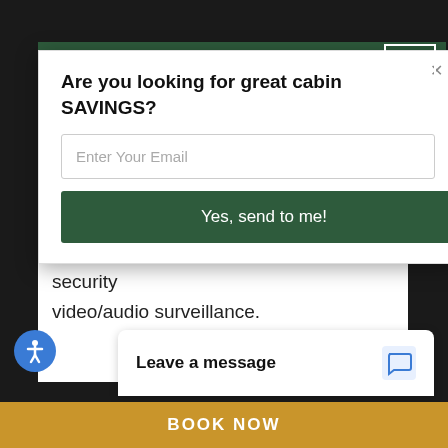[Figure (screenshot): Website popup modal asking for email to receive cabin savings, with email input and submit button, on a vacation rental website for Smoky Mountains cabins.]
Mountain Getaway in the Smokies!
This property is under 24 hour exterior security video/audio surveillance.
Are you looking for great cabin SAVINGS?
Enter Your Email
Yes, send to me!
Leave a message
BOOK NOW